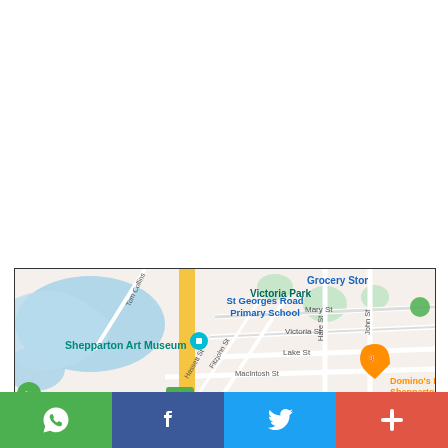[Figure (map): Google Maps screenshot showing Shepparton area in Victoria, Australia. Visible landmarks include Victoria Park, Shepparton Art Museum, St Georges Road Primary School, Domino's Pizza Shepparton, and road names: Tom Collins, Mary St, Victoria St, Lake St, MacIntosh St, Fitzjohn St, Hassett St, Hare St, John St. A yellow highway (A39) runs vertically through the center. A river/lake is visible on the left side.]
[Figure (infographic): Social sharing bar with four buttons: WhatsApp (green), Facebook (dark blue), Twitter (light blue), and a plus/more button (red).]